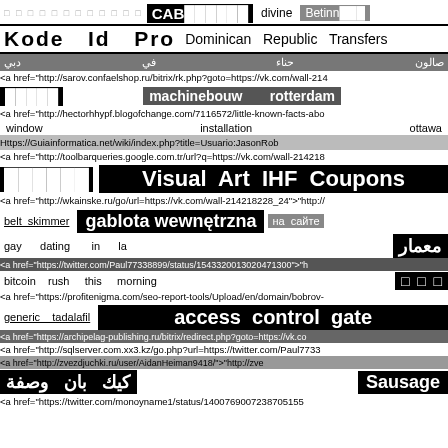□ □ □ □ □ □ □ □ □ □ □ □   CAB██████   divine   Betinn███
Kode  Id  Pro   Dominican  Republic  Transfers
دبي   في   حناء   صالون
<a href="http://sarov.confaelshop.ru/bitrix/rk.php?goto=https://vk.com/wall-214
█████   machinebouw   rotterdam
<a href="http://hectorhhypf.blogofchange.com/7116572/little-known-facts-abo
window   installation   ottawa
Https://Guiainformatica.net/wiki/index.php?title=Usuario:JasonRob
<a href="http://toolbarqueries.google.com.tr/url?q=https://vk.com/wall-214218
██████  Visual  Art  IHF  Coupons
<a href="http://wkainske.ru/go/url=https://vk.com/wall-214218228_24">"http://
belt skimmer   gablota wewnętrzna   на сайте
gay   dating   in   la   معمار
<a href="https://twitter.com/Paul77338899/status/1543320013020471300">"h
bitcoin   rush   this   morning   □  □  □
<a href="https://profitenigma.com/seo-report-tools/Upload/en/domain/bobrov-
generic   tadalafil   access  control  gate
<a href="https://archipelag-publishing.ru/bitrix/redirect.php?goto=https://vk.co
<a href="http://sqlserver.com.xx3.kz/go.php?url=https://twitter.com/Paul7733
<a href="http://zvezdjuchki.ru/user/AidanHeiman9418/">"http://zve
كيك   بان   وصفة   Sausage
<a href="https://twitter.com/monoyname1/status/1400769007238705155